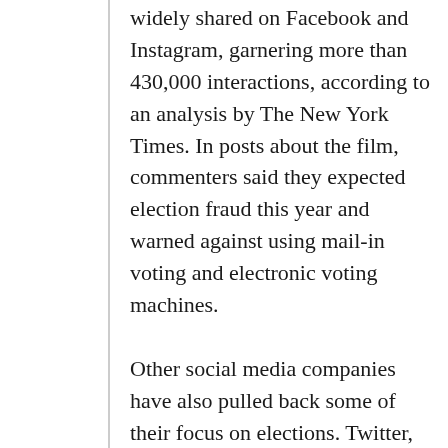widely shared on Facebook and Instagram, garnering more than 430,000 interactions, according to an analysis by The New York Times. In posts about the film, commenters said they expected election fraud this year and warned against using mail-in voting and electronic voting machines.
Other social media companies have also pulled back some of their focus on elections. Twitter, which stopped labeling and removing election misinformation in March 2021, has been preoccupied with its $44 billion sale to Elon Musk, three employees with knowledge of the situation said. Mr. Musk